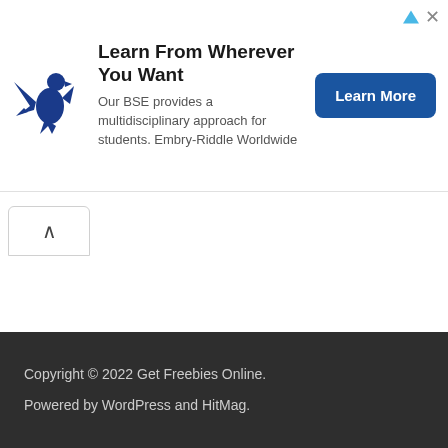[Figure (other): Advertisement banner for Embry-Riddle Worldwide BSE program with eagle logo, text, and Learn More button]
[Figure (other): Scroll-to-top button with upward chevron arrow]
Copyright © 2022 Get Freebies Online.
Powered by WordPress and HitMag.